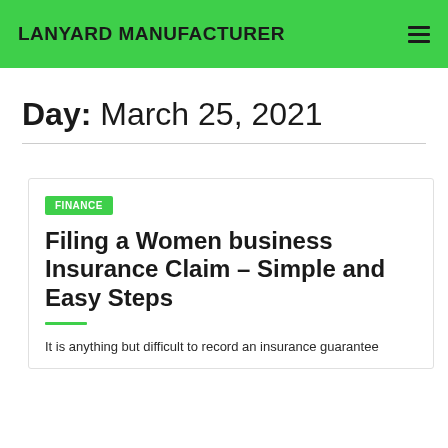LANYARD MANUFACTURER
Day: March 25, 2021
FINANCE
Filing a Women business Insurance Claim – Simple and Easy Steps
It is anything but difficult to record an insurance guarantee